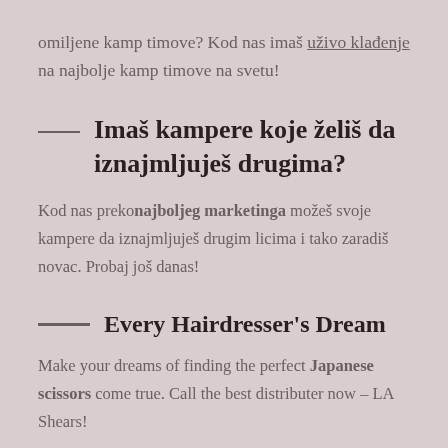omiljene kamp timove? Kod nas imaš uživo klađenje na najbolje kamp timove na svetu!
Imaš kampere koje želiš da iznajmljuješ drugima?
Kod nas preko najboljeg marketinga možeš svoje kampere da iznajmljuješ drugim licima i tako zaradiš novac. Probaj još danas!
Every Hairdresser's Dream
Make your dreams of finding the perfect Japanese scissors come true. Call the best distributer now – LA Shears!